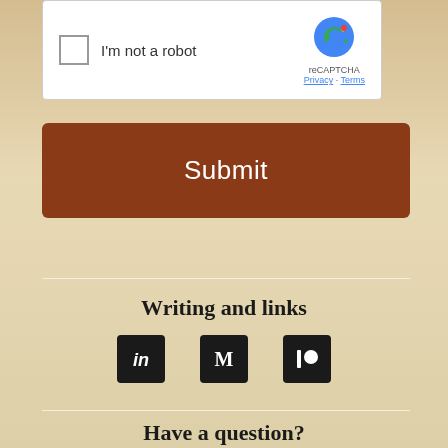[Figure (screenshot): reCAPTCHA widget with checkbox labeled 'I'm not a robot' and reCAPTCHA logo with Privacy and Terms links]
Submit
Writing and links
[Figure (logo): Social media icons: LinkedIn (in), Medium (M), and Patreon (|●) in black square boxes]
Have a question?